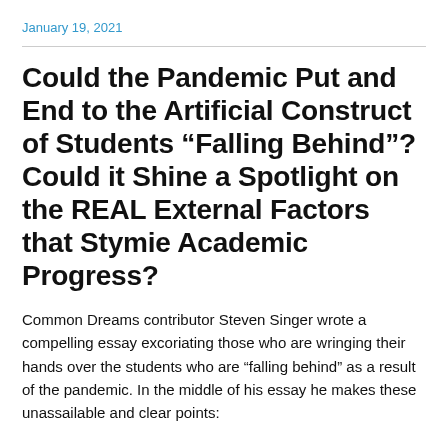January 19, 2021
Could the Pandemic Put and End to the Artificial Construct of Students “Falling Behind”? Could it Shine a Spotlight on the REAL External Factors that Stymie Academic Progress?
Common Dreams contributor Steven Singer wrote a compelling essay excoriating those who are wringing their hands over the students who are “falling behind” as a result of the pandemic. In the middle of his essay he makes these unassailable and clear points: